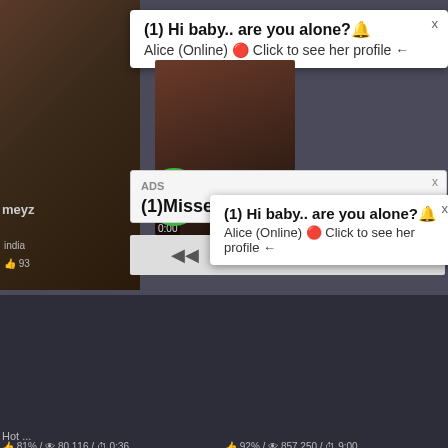[Figure (screenshot): Adult content website screenshot showing video thumbnails and pop-up notification ads overlaid on the page]
(1) Hi baby.. are you alone?🔔
Alice (Online) 🔴 Click to see her profile ←
ADS
(1)Missed Call from Eliza
(1) Hi baby.. are you alone?🔔
Alice (Online) 🔴 Click to see her profile ←
ADS • 💋 Dating for men!
Find bad girls here 💋
Hot ...
👍 81% / 👁 80 116 / ⏱ 0:36
👍 92% / 👁 857 250 / ⏱ 9:00